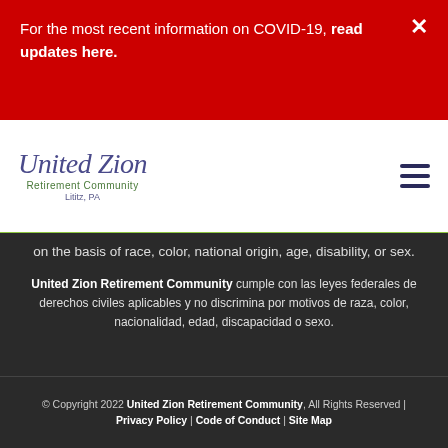For the most recent information on COVID-19, read updates here.
[Figure (logo): United Zion Retirement Community logo, Lititz PA]
on the basis of race, color, national origin, age, disability, or sex.
United Zion Retirement Community cumple con las leyes federales de derechos civiles aplicables y no discrimina por motivos de raza, color, nacionalidad, edad, discapacidad o sexo.
© Copyright 2022 United Zion Retirement Community, All Rights Reserved | Privacy Policy | Code of Conduct | Site Map